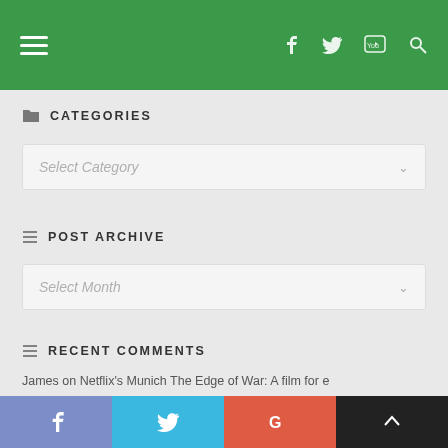Navigation bar with hamburger menu and social icons (Facebook, Twitter, YouTube, Search) on green background
CATEGORIES
Select Category
POST ARCHIVE
Select Month
RECENT COMMENTS
James on Netflix's Munich The Edge of War: A film for e
Social share buttons: Facebook, Twitter, Google+, Back to top